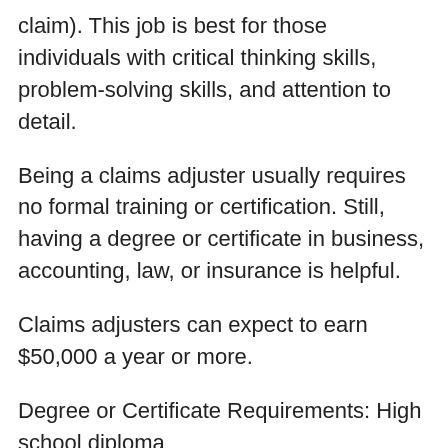claim). This job is best for those individuals with critical thinking skills, problem-solving skills, and attention to detail.
Being a claims adjuster usually requires no formal training or certification. Still, having a degree or certificate in business, accounting, law, or insurance is helpful.
Claims adjusters can expect to earn $50,000 a year or more.
Degree or Certificate Requirements: High school diploma